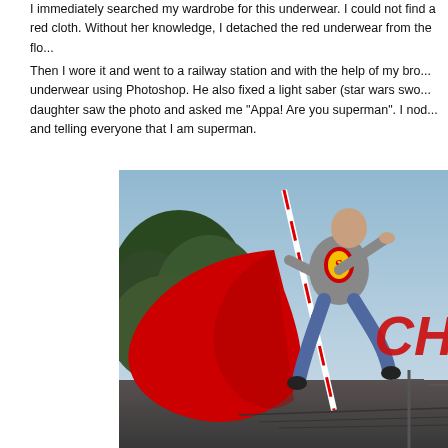I immediately searched my wardrobe for this underwear. I could not find a red cloth. Without her knowledge, I detached the red underwear from the flo...
Then I wore it and went to a railway station and with the help of my bro... underwear using Photoshop. He also fixed a light saber (star wars swo... daughter saw the photo and asked me "Appa! Are you superman". I nod... and telling everyone that I am superman.
[Figure (photo): A man dressed as Superman with a red cape and Superman logo on chest, appearing to fly/jump in mid-air at a railway station. The image has trees/foliage on the left, a blue sky background, and large red 'CH' text visible on the right side. A red and white light saber prop is visible.]